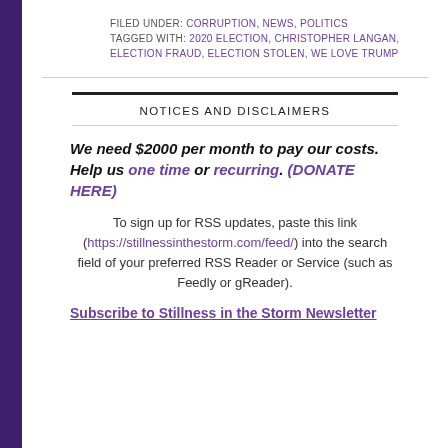FILED UNDER: CORRUPTION, NEWS, POLITICS
TAGGED WITH: 2020 ELECTION, CHRISTOPHER LANGAN, ELECTION FRAUD, ELECTION STOLEN, WE LOVE TRUMP
NOTICES AND DISCLAIMERS
We need $2000 per month to pay our costs. Help us one time or recurring. (DONATE HERE)
To sign up for RSS updates, paste this link (https://stillnessinthestorm.com/feed/) into the search field of your preferred RSS Reader or Service (such as Feedly or gReader).
Subscribe to Stillness in the Storm Newsletter